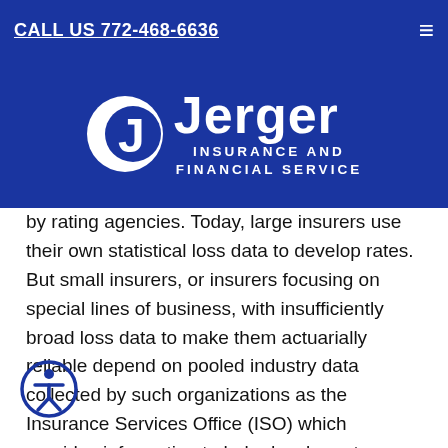CALL US 772-468-6636
[Figure (logo): Jerger Insurance and Financial Service logo — white J-shaped icon on blue background with company name]
by rating agencies. Today, large insurers use their own statistical loss data to develop rates. But small insurers, or insurers focusing on special lines of business, with insufficiently broad loss data to make them actuarially reliable depend on pooled industry data collected by such organizations as the Insurance Services Office (ISO) which provides information to help develop rates such as estimates of future losses and loss adjustment expenses like legal defense costs.
[Figure (illustration): Accessibility icon — person figure in a circle, blue outline]